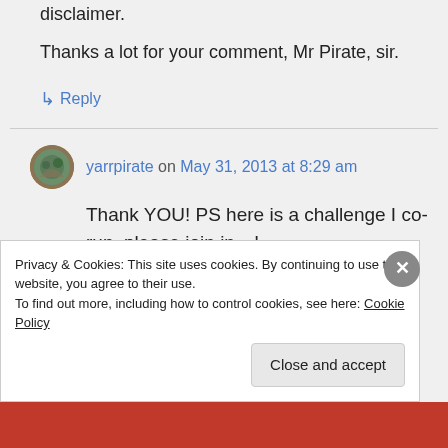disclaimer.
Thanks a lot for your comment, Mr Pirate, sir.
↳ Reply
yarrpirate on May 31, 2013 at 8:29 am
Thank YOU! PS here is a challenge I co-run, please join in…!
Privacy & Cookies: This site uses cookies. By continuing to use this website, you agree to their use.
To find out more, including how to control cookies, see here: Cookie Policy
Close and accept